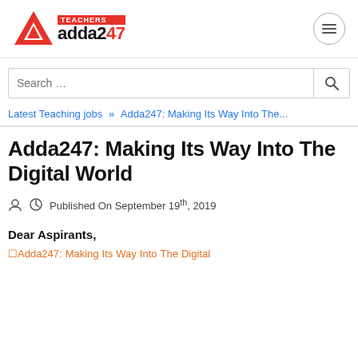[Figure (logo): Teachers Adda247 logo with red triangle icon and text]
Search …
Latest Teaching jobs  »  Adda247: Making Its Way Into The...
Adda247: Making Its Way Into The Digital World
Published On September 19th, 2019
Dear Aspirants,
Adda247: Making Its Way Into The Digital